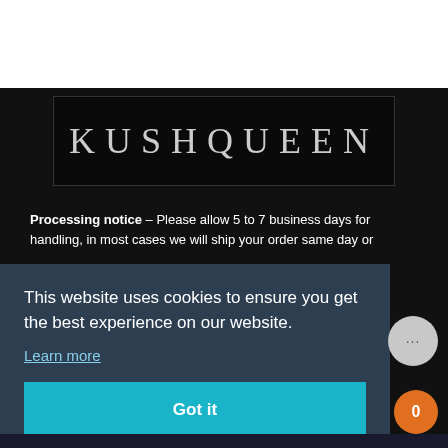[Figure (logo): KUSHQUEEN brand logo in serif letters on dark background]
Processing notice - Please allow 5 to 7 business days for handling, in most cases we will ship your order same day or
This website uses cookies to ensure you get the best experience on our website.
Learn more
Got it